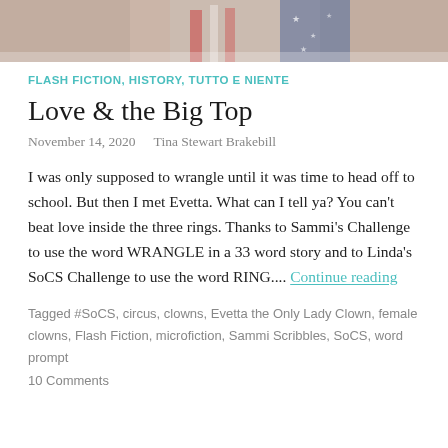[Figure (photo): Top portion of a photo showing a person in costume, partially cropped at the bottom edge of the image strip.]
FLASH FICTION, HISTORY, TUTTO E NIENTE
Love & the Big Top
November 14, 2020    Tina Stewart Brakebill
I was only supposed to wrangle until it was time to head off to school. But then I met Evetta. What can I tell ya? You can't beat love inside the three rings. Thanks to Sammi's Challenge to use the word WRANGLE in a 33 word story and to Linda's SoCS Challenge to use the word RING.... Continue reading
Tagged #SoCS, circus, clowns, Evetta the Only Lady Clown, female clowns, Flash Fiction, microfiction, Sammi Scribbles, SoCS, word prompt
10 Comments